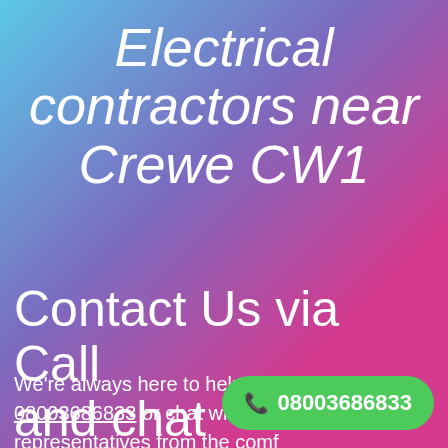Electrical contractors near Crewe CW1
Contact Us via Call and chat
We're always here to help! Give us a call at 08003686833 or chat with one of our representatives from the comfort on your screen.
[Figure (other): Green call-to-action button with phone icon and number 08003686833]